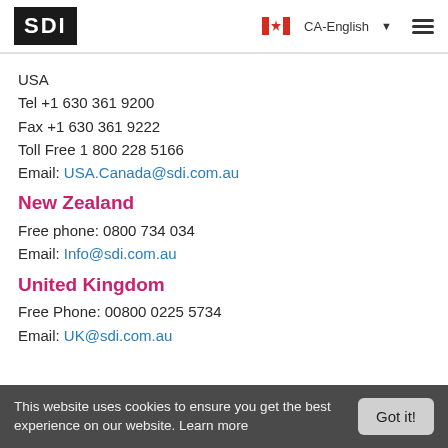SDI logo | CA-English | hamburger menu
USA
Tel +1 630 361 9200
Fax +1 630 361 9222
Toll Free 1 800 228 5166
Email: USA.Canada@sdi.com.au
New Zealand
Free phone: 0800 734 034
Email: Info@sdi.com.au
United Kingdom
Free Phone: 00800 0225 5734
Email: UK@sdi.com.au
This website uses cookies to ensure you get the best experience on our website. Learn more